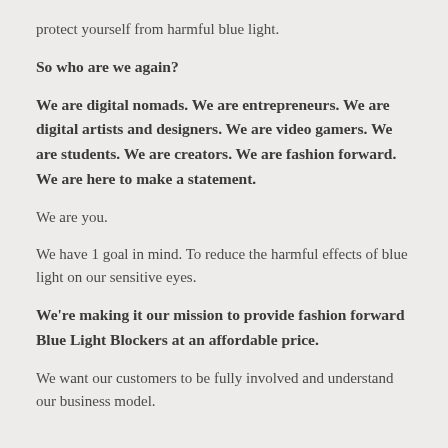protect yourself from harmful blue light.
So who are we again?
We are digital nomads. We are entrepreneurs. We are digital artists and designers. We are video gamers. We are students. We are creators. We are fashion forward. We are here to make a statement.
We are you.
We have 1 goal in mind. To reduce the harmful effects of blue light on our sensitive eyes.
We're making it our mission to provide fashion forward Blue Light Blockers at an affordable price.
We want our customers to be fully involved and understand our business model.